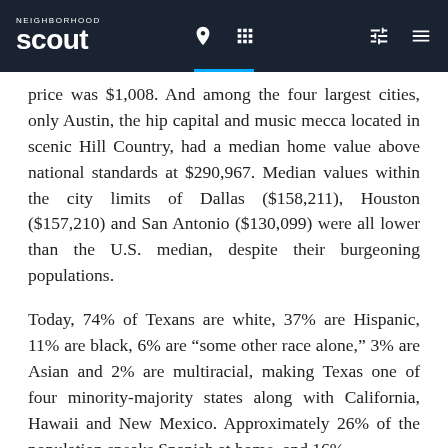Neighborhood Scout
price was $1,008. And among the four largest cities, only Austin, the hip capital and music mecca located in scenic Hill Country, had a median home value above national standards at $290,967. Median values within the city limits of Dallas ($158,211), Houston ($157,210) and San Antonio ($130,099) were all lower than the U.S. median, despite their burgeoning populations.
Today, 74% of Texans are white, 37% are Hispanic, 11% are black, 6% are “some other race alone,” 3% are Asian and 2% are multiracial, making Texas one of four minority-majority states along with California, Hawaii and New Mexico. Approximately 26% of the population speaks Spanish at home, and 16%...